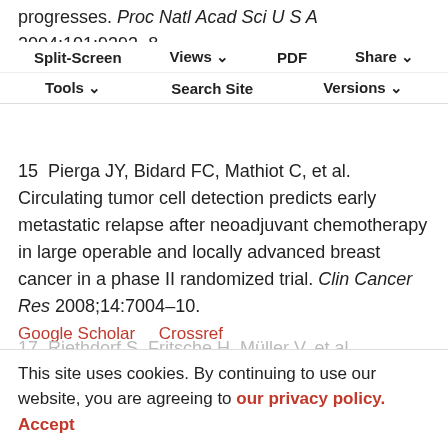progresses. Proc Natl Acad Sci U S A 2004;101:9393–8.
Split-Screen | Views | PDF | Share | Tools | Search Site | Versions
Google Scholar   Crossref
15  Pierga JY, Bidard FC, Mathiot C, et al. Circulating tumor cell detection predicts early metastatic relapse after neoadjuvant chemotherapy in large operable and locally advanced breast cancer in a phase II randomized trial. Clin Cancer Res 2008;14:7004–10.
Google Scholar   Crossref
16  Camara O, Rengsberger M, Egbe A, et al. The relevance of circulating epithelial tumor cells (CETC) for therapy monitoring during neoadjuvant (primary systemic) chemotherapy in breast cancer. Ann Oncol 2007;18:1484–92.
This site uses cookies. By continuing to use our website, you are agreeing to our privacy policy. Accept
17  Riethdorf S, Fritsche H, Müller V, et al. Detection of circulating tumor cells in peripheral blood of patients